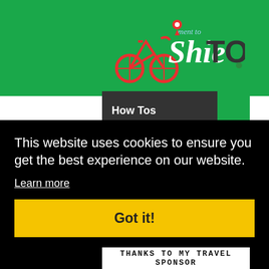[Figure (logo): ShieTOWN website logo with bicycle icon and pin marker on green background]
How Tos (6) Itineraries
(7) Outdoors (19)
Press Release (3)
Product Reviews (2)
Recreations (5)
Shopping Trips (6)
This website uses cookies to ensure you get the best experience on our website.
Learn more
Got it!
THANKS TO MY TRAVEL SPONSOR